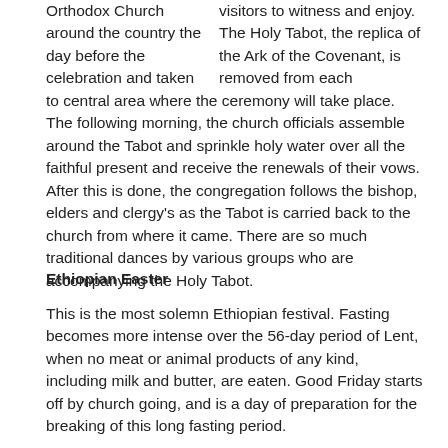visitors to witness and enjoy. The Holy Tabot, the replica of the Ark of the Covenant, is removed from each Orthodox Church around the country the day before the celebration and taken to central area where the ceremony will take place. The following morning, the church officials assemble around the Tabot and sprinkle holy water over all the faithful present and receive the renewals of their vows. After this is done, the congregation follows the bishop, elders and clergy's as the Tabot is carried back to the church from where it came. There are so much traditional dances by various groups who are accompanying the Holy Tabot.
Ethiopian Easter
This is the most solemn Ethiopian festival. Fasting becomes more intense over the 56-day period of Lent, when no meat or animal products of any kind, including milk and butter, are eaten. Good Friday starts off by church going, and is a day of preparation for the breaking of this long fasting period.